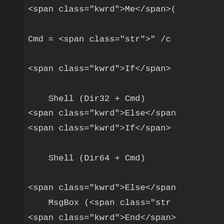<span class="kwrd">Me</span>(  Cmd = <span class="str">" /c  <span class="kwrd">If</span>      Shell (Dir32 + Cmd)  <span class="kwrd">Else</span>  <span class="kwrd">If</span>      Shell (Dir64 + Cmd)  <span class="kwrd">Else</span>      MsgBox (<span class="str">  <span class="kwrd">End</span>  <span class="kwrd">End</span>